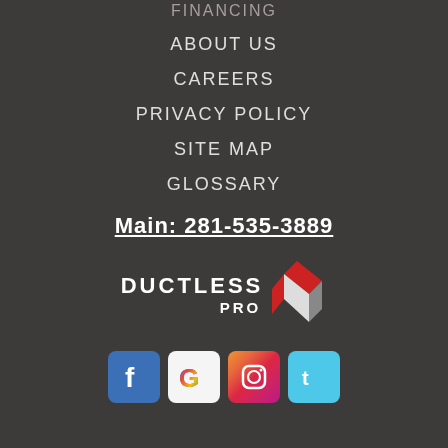FINANCING
ABOUT US
CAREERS
PRIVACY POLICY
SITE MAP
GLOSSARY
Main: 281-535-3889
[Figure (logo): Ductless Pro logo with diagonal striped emblem in red, white and dark colors]
[Figure (infographic): Row of social media icons: Facebook (blue), Google (white/colorful G), Instagram (gradient), Twitter (light blue)]